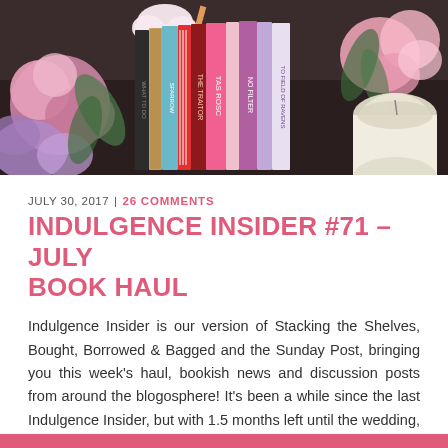[Figure (photo): Overhead flat-lay photo of a stack of books with spines visible, pink flowers, a cute cloud-shaped decoration, and a white candle on a dark surface.]
JULY 30, 2017 | 26 COMMENTS
INDULGENCE INSIDER #71 – JULY BOOK HAUL
Indulgence Insider is our version of Stacking the Shelves, Bought, Borrowed & Bagged and the Sunday Post, bringing you this week's haul, bookish news and discussion posts from around the blogosphere! It's been a while since the last Indulgence Insider, but with 1.5 months left until the wedding, it's all full speed ahead! In between [...]